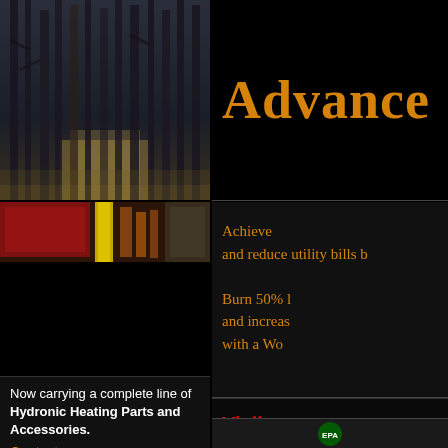[Figure (photo): Forest of tall pine trees with misty/foggy atmosphere and light filtering through]
[Figure (photo): Hydronic heating equipment - boiler/pipes with red and yellow components]
Now carrying a complete line of Hydronic Heating Parts and Accessories.
Contact:
ADVANCE
Achieve and reduce utility bills b Burn 50% l and increas with a Wo
Visib